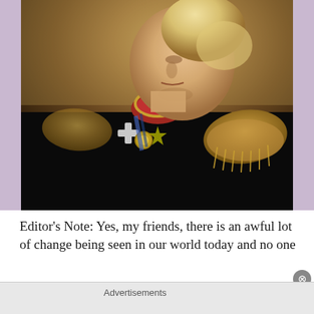[Figure (illustration): A digitally altered painting depicting a person with blonde-white hair styled as a military general in a black uniform with gold epaulettes and military medals/decorations, in the style of a 19th century imperial portrait painting.]
Editor's Note: Yes, my friends, there is an awful lot of change being seen in our world today and no one
Advertisements